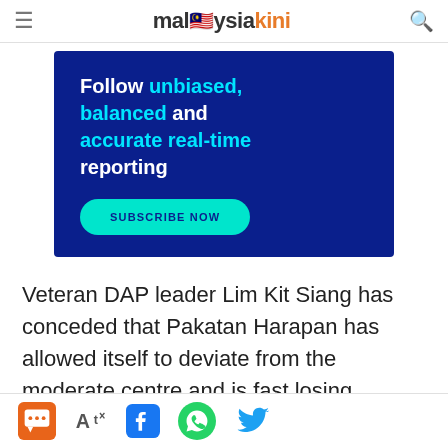malaysiakini
[Figure (infographic): Advertisement banner with dark blue background. Text reads: Follow unbiased, balanced and accurate real-time reporting. SUBSCRIBE NOW button.]
Veteran DAP leader Lim Kit Siang has conceded that Pakatan Harapan has allowed itself to deviate from the moderate centre and is fast losing ground because of it.
Social sharing toolbar with comment, font size, Facebook, WhatsApp, and Twitter icons